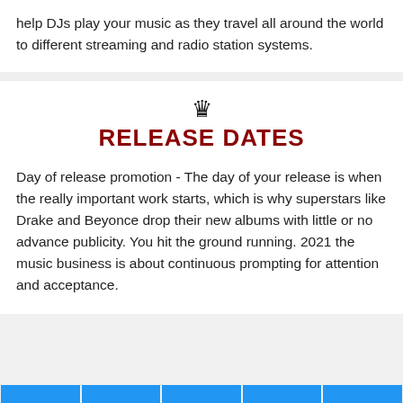help DJs play your music as they travel all around the world to different streaming and radio station systems.
RELEASE DATES
Day of release promotion - The day of your release is when the really important work starts, which is why superstars like Drake and Beyonce drop their new albums with little or no advance publicity. You hit the ground running. 2021 the music business is about continuous prompting for attention and acceptance.